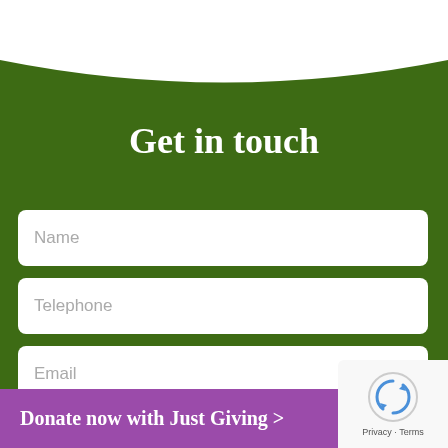Get in touch
Name
Telephone
Email
Choose Subject
Donate now with Just Giving >
Privacy · Terms